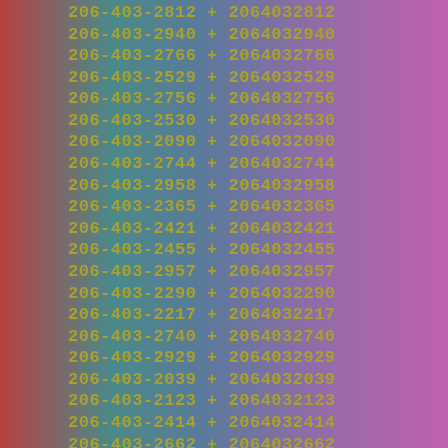206-403-2812 + 2064032812
206-403-2940 + 2064032940
206-403-2766 + 2064032766
206-403-2529 + 2064032529
206-403-2756 + 2064032756
206-403-2530 + 2064032530
206-403-2090 + 2064032090
206-403-2744 + 2064032744
206-403-2958 + 2064032958
206-403-2365 + 2064032365
206-403-2421 + 2064032421
206-403-2455 + 2064032455
206-403-2957 + 2064032957
206-403-2290 + 2064032290
206-403-2217 + 2064032217
206-403-2740 + 2064032740
206-403-2929 + 2064032929
206-403-2039 + 2064032039
206-403-2123 + 2064032123
206-403-2414 + 2064032414
206-403-2662 + 2064032662
206-403-2146 + 2064032146
206-403-2360 + 2064032360